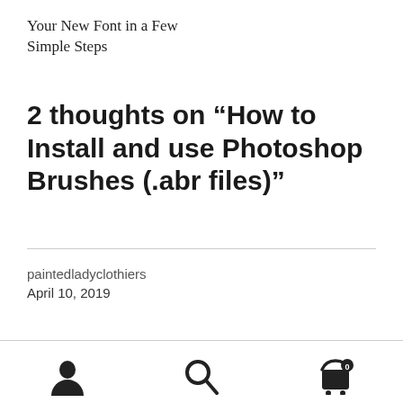Your New Font in a Few Simple Steps
2 thoughts on “How to Install and use Photoshop Brushes (.abr files)”
paintedladyclothiers
April 10, 2019
[Figure (other): Footer navigation icons: user/account icon, search icon, shopping cart icon with badge showing 0]